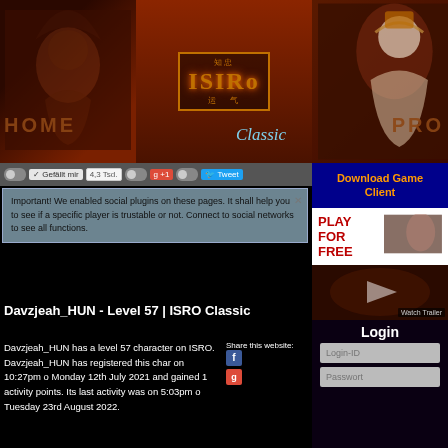ISRO Classic - HOME | PRO
✓ Gefällt mir   4,3 Tsd.   +1   Tweet
Important! We enabled social plugins on these pages. It shall help you to see if a specific player is trustable or not. Connect to social networks to see all functions.
Davzjeah_HUN - Level 57 | ISRO Classic
Davzjeah_HUN has a level 57 character on ISRO. Davzjeah_HUN has registered this char on 10:27pm o Monday 12th July 2021 and gained 1 activity points. Its last activity was on 5:03pm o Tuesday 23rd August 2022.
Share this website:
Download Game Client
PLAY FOR FREE
Login
Login-ID
Passwort